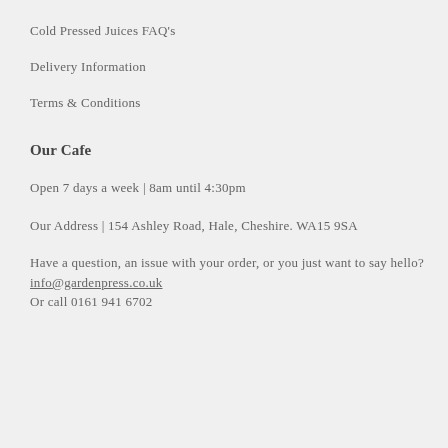Cold Pressed Juices FAQ's
Delivery Information
Terms & Conditions
Our Cafe
Open 7 days a week | 8am until 4:30pm
Our Address | 154 Ashley Road, Hale, Cheshire. WA15 9SA
Have a question, an issue with your order, or you just want to say hello? info@gardenpress.co.uk
Or call 0161 941 6702